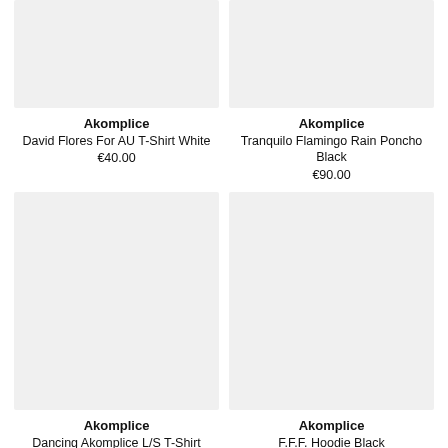[Figure (photo): Product image placeholder – light gray rectangle for Akomplice David Flores For AU T-Shirt White]
Akomplice
David Flores For AU T-Shirt White
€40.00
[Figure (photo): Product image placeholder – light gray rectangle for Akomplice Tranquilo Flamingo Rain Poncho Black]
Akomplice
Tranquilo Flamingo Rain Poncho Black
€90.00
[Figure (photo): Product image placeholder – light gray rectangle for Akomplice Dancing Akomplice L/S T-Shirt]
Akomplice
Dancing Akomplice L/S T-Shirt
[Figure (photo): Product image placeholder – light gray rectangle for Akomplice F.F.F. Hoodie Black]
Akomplice
F.F.F. Hoodie Black